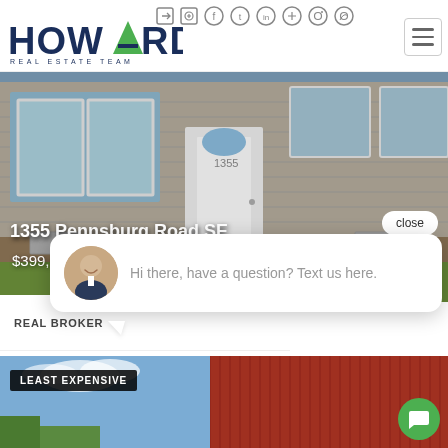[Figure (logo): Howard Real Estate Team logo with green triangle/leaf replacing the A in HOWARD]
[Figure (screenshot): Social media icons row: login, email, facebook, twitter, linkedin, youtube, instagram, pinterest]
[Figure (screenshot): Hamburger menu button top right]
[Figure (photo): Exterior photo of house at 1355 Pennsburg Road SE, gray siding, white door with number 1355, windows]
1355 Pennsburg Road SE
$399,000
[Figure (screenshot): Close button (rounded pill shape, white background, text 'close')]
REAL BROKER
[Figure (screenshot): Chat popup bubble with agent avatar photo and text: Hi there, have a question? Text us here.]
[Figure (photo): Partial photo of second property listing showing red barn-style building with blue sky, labeled LEAST EXPENSIVE]
LEAST EXPENSIVE
[Figure (screenshot): Green chat FAB button with speech bubble icon, bottom right]